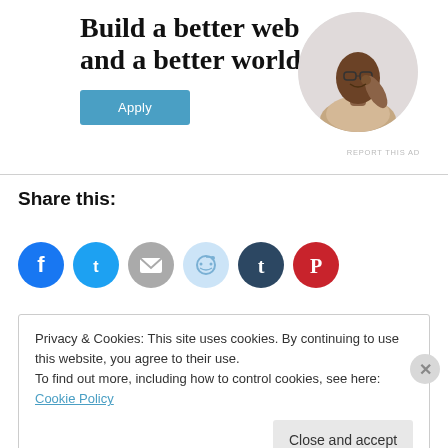Build a better web and a better world.
[Figure (illustration): Blue Apply button for a job ad]
[Figure (photo): Circular portrait photo of a man thinking at a desk]
REPORT THIS AD
Share this:
[Figure (infographic): Row of social share icon circles: Facebook (blue), Twitter (blue), Email (gray), Reddit (light blue), Tumblr (dark navy), Pinterest (red)]
Privacy & Cookies: This site uses cookies. By continuing to use this website, you agree to their use.
To find out more, including how to control cookies, see here: Cookie Policy
Close and accept